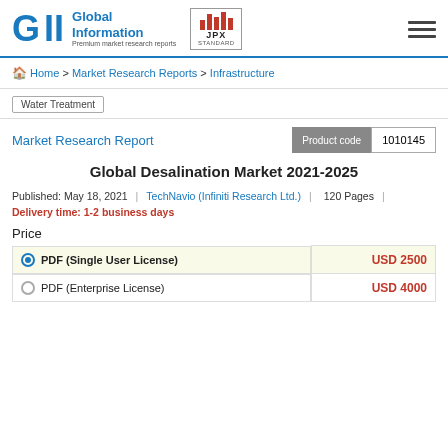[Figure (logo): GII Global Information logo with JPX Standard logo and hamburger menu]
Home > Market Research Reports > Infrastructure
Water Treatment
Market Research Report
Product code 1010145
Global Desalination Market 2021-2025
Published: May 18, 2021 | TechNavio (Infiniti Research Ltd.) | 120 Pages | Delivery time: 1-2 business days
Price
| License | Price |
| --- | --- |
| PDF (Single User License) | USD 2500 |
| PDF (Enterprise License) | USD 4000 |